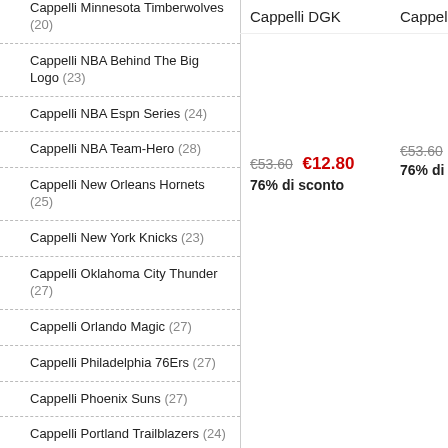Cappelli Minnesota Timberwolves (20)
Cappelli NBA Behind The Big Logo (23)
Cappelli NBA Espn Series (24)
Cappelli NBA Team-Hero (28)
Cappelli New Orleans Hornets (25)
Cappelli New York Knicks (23)
Cappelli Oklahoma City Thunder (27)
Cappelli Orlando Magic (27)
Cappelli Philadelphia 76Ers (27)
Cappelli Phoenix Suns (27)
Cappelli Portland Trailblazers (24)
Cappelli Sacramento Kings (25)
Cappelli San Antonio Spurs (26)
Cappelli Seattle Sonics (24)
Cappelli DGK
€53.60  €12.80
76% di sconto